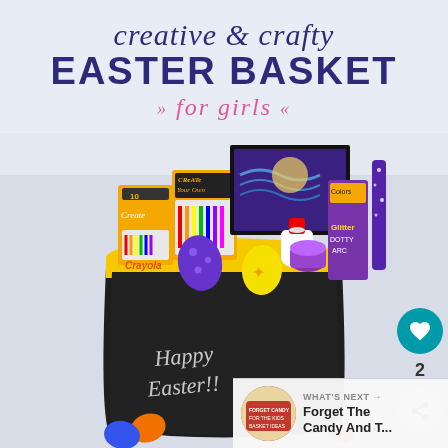creative & crafty EASTER BASKET for girls
[Figure (photo): A yellow chalkboard bucket Easter basket filled with craft supplies including Crayola markers, Create Your Own sets, glitter glue, Easter eggs, and art supplies. The bucket has 'Happy Easter' written in chalk. Colorful Easter eggs are scattered at the base.]
2
WHAT'S NEXT → Forget The Candy And T...